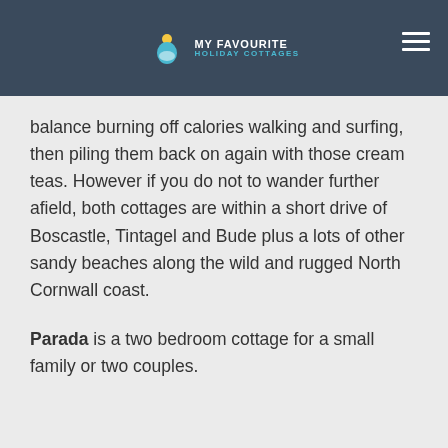MY FAVOURITE HOLIDAY COTTAGES
balance burning off calories walking and surfing, then piling them back on again with those cream teas. However if you do not to wander further afield, both cottages are within a short drive of Boscastle, Tintagel and Bude plus a lots of other sandy beaches along the wild and rugged North Cornwall coast.
Parada is a two bedroom cottage for a small family or two couples.